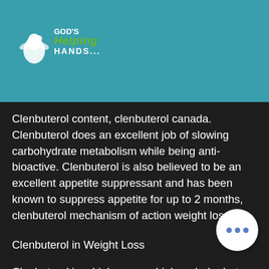God's Helping Hands — site header with logo and navigation
roid um. loss is
Clenbuterol content, clenbuterol canada. Clenbuterol does an excellent job of slowing carbohydrate metabolism while being anti-bioactive. Clenbuterol is also believed to be an excellent appetite suppressant and has been known to suppress appetite for up to 2 months, clenbuterol mechanism of action weight loss.
Clenbuterol in Weight Loss
Clenbuterol is a high energy, high carbohydrate, hypoenergetic (not being able to burn all of the carbs, but only some) form of amino acid that is made up of two carbon atoms bonded together at one end. Si... Clenbuterol is composed of two carbon atoms bonded together at one end and is